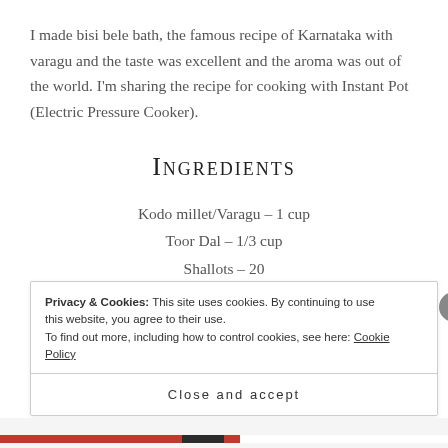I made bisi bele bath, the famous recipe of Karnataka with varagu and the taste was excellent and the aroma was out of the world. I'm sharing the recipe for cooking with Instant Pot (Electric Pressure Cooker).
INGREDIENTS
Kodo millet/Varagu – 1 cup
Toor Dal – 1/3 cup
Shallots – 20
Carrot – 1
Privacy & Cookies: This site uses cookies. By continuing to use this website, you agree to their use.
To find out more, including how to control cookies, see here: Cookie Policy
Close and accept